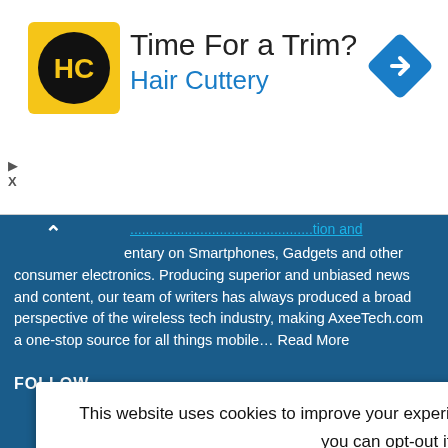[Figure (logo): Hair Cuttery logo - yellow square with HC letters in black circle, followed by text 'Time For a Trim?' and 'Hair Cuttery' in blue, with a blue diamond navigation icon on the right]
entary on Smartphones, Gadgets and other consumer electronics. Producing superior and unbiased news and content, our team of writers has always produced a broad perspective of the wireless tech industry, making AxeeTech.com a one-stop source for all things mobile… Read More
FOLLOW
This website uses cookies to improve your experience. We'll assume you're ok with this, but you can opt-out if you wish.
Accept  Privacy Policy